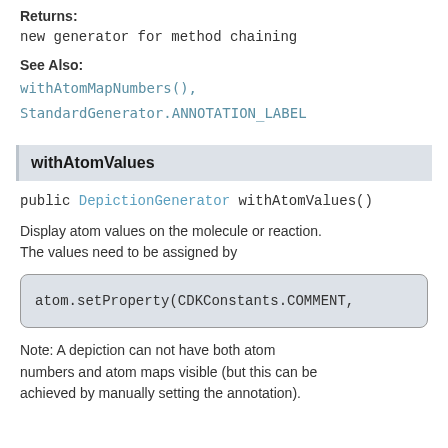Returns:
new generator for method chaining
See Also:
withAtomMapNumbers(), StandardGenerator.ANNOTATION_LABEL
withAtomValues
public DepictionGenerator withAtomValues()
Display atom values on the molecule or reaction. The values need to be assigned by
atom.setProperty(CDKConstants.COMMENT,
Note: A depiction can not have both atom numbers and atom maps visible (but this can be achieved by manually setting the annotation).